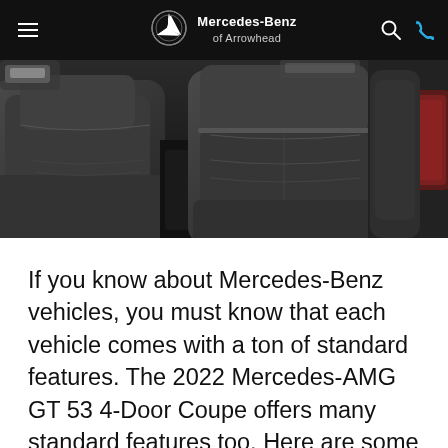Mercedes-Benz of Arrowhead
[Figure (photo): Close-up interior photo of dark leather seats in a Mercedes-AMG vehicle, showing two front seats and a rear seat with red accent visible in background.]
If you know about Mercedes-Benz vehicles, you must know that each vehicle comes with a ton of standard features. The 2022 Mercedes-AMG GT 53 4-Door Coupe offers many standard features too. Here are some of those features that'll offer you comfort and convenience during the drive: heated power front seats with memory. Fixed rear